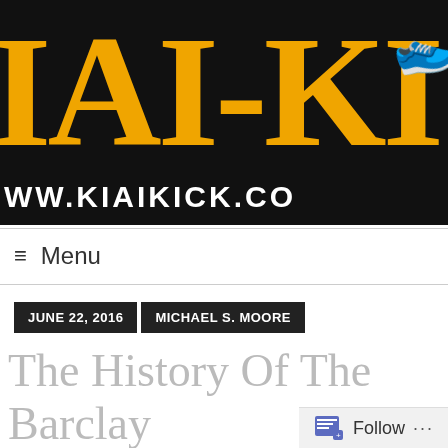[Figure (logo): KIAI-KICK website logo banner: large yellow serif letters 'IAI-KI' on black background with a sneaker image in top right corner, and 'www.kiaikick.com' URL text at bottom]
≡ Menu
JUNE 22, 2016   MICHAEL S. MOORE
The History Of The Barclay Hotel: A Collection Of Tr...